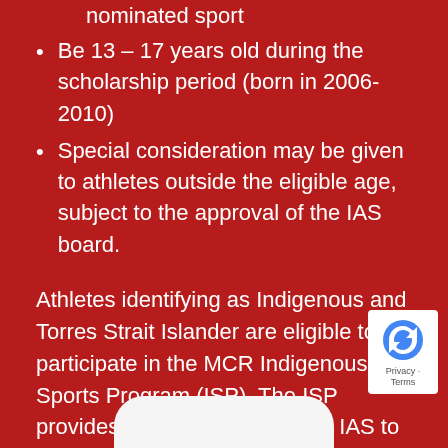Sporting Organisation (SSO) for the nominated sport
Be 13 – 17 years old during the scholarship period (born in 2006-2010)
Special consideration may be given to athletes outside the eligible age, subject to the approval of the IAS board.
Athletes identifying as Indigenous and Torres Strait Islander are eligible to participate in the MCR Indigenous Sports Program (ISP). The ISP provides an opportunity for the IAS to provide mentorship and a dedicated level of focus upon the outcomes and support for Indigenous athletes.